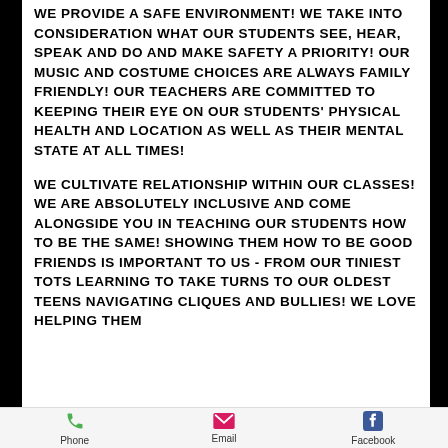WE PROVIDE A SAFE ENVIRONMENT! WE TAKE INTO CONSIDERATION WHAT OUR STUDENTS SEE, HEAR, SPEAK AND DO AND MAKE SAFETY A PRIORITY! OUR MUSIC AND COSTUME CHOICES ARE ALWAYS FAMILY FRIENDLY! OUR TEACHERS ARE COMMITTED TO KEEPING THEIR EYE ON OUR STUDENTS' PHYSICAL HEALTH AND LOCATION AS WELL AS THEIR MENTAL STATE AT ALL TIMES!
WE CULTIVATE RELATIONSHIP WITHIN OUR CLASSES! WE ARE ABSOLUTELY INCLUSIVE AND COME ALONGSIDE YOU IN TEACHING OUR STUDENTS HOW TO BE THE SAME! SHOWING THEM HOW TO BE GOOD FRIENDS IS IMPORTANT TO US - FROM OUR TINIEST TOTS LEARNING TO TAKE TURNS TO OUR OLDEST TEENS NAVIGATING CLIQUES AND BULLIES! WE LOVE HELPING THEM
Phone  Email  Facebook